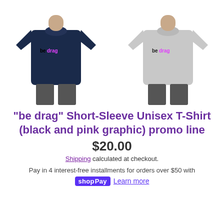[Figure (photo): Two product photos of 'be drag' short-sleeve unisex t-shirts: left is navy blue, right is heather grey, both showing male model, with black and pink 'be drag' graphic on chest]
"be drag" Short-Sleeve Unisex T-Shirt (black and pink graphic) promo line
$20.00
Shipping calculated at checkout.
Pay in 4 interest-free installments for orders over $50 with shop Pay Learn more